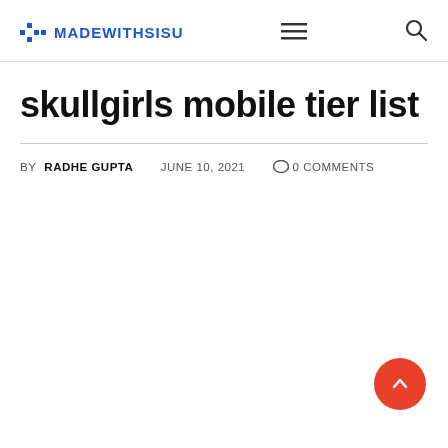❖MADEWITHSISU
skullgirls mobile tier list
BY RADHE GUPTA   JUNE 10, 2021   0 COMMENTS